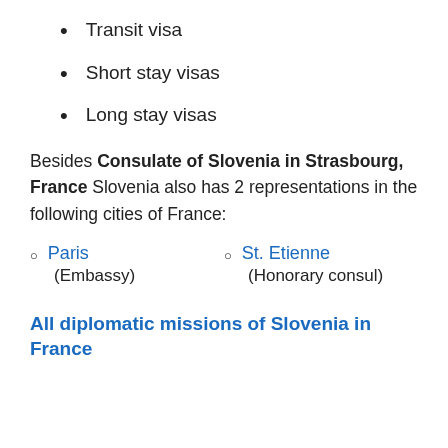Transit visa
Short stay visas
Long stay visas
Besides Consulate of Slovenia in Strasbourg, France Slovenia also has 2 representations in the following cities of France:
Paris (Embassy)
St. Etienne (Honorary consul)
All diplomatic missions of Slovenia in France